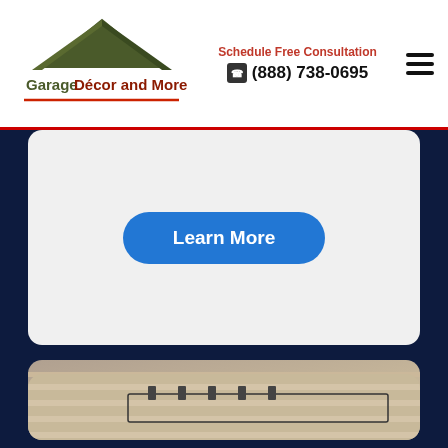[Figure (logo): Garage Décor and More logo with house roof icon]
Schedule Free Consultation
(888) 738-0695
[Figure (other): Learn More button on white card]
[Figure (photo): Close-up photo of garage slatwall panel system with wire basket accessories and hooks mounted on beige/cream colored slatwall panels]